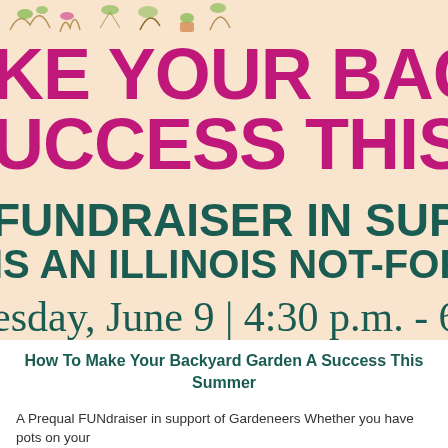[Figure (illustration): Decorative illustration strip at top of poster with garden/plant motifs]
KE YOUR BACKYARD SUCCESS THIS SUMMER
FUNDRAISER IN SUPPORT OF IS AN ILLINOIS NOT-FOR-PROFIT OR
esday, June 9 | 4:30 p.m. - 6:00 p.m
How To Make Your Backyard Garden A Success This Summer
A Prequal FUNdraiser in support of Gardeneers Whether you have pots on your